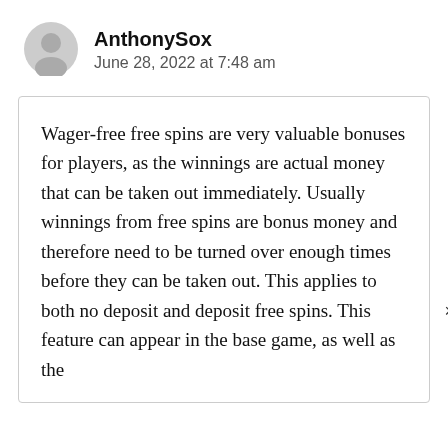AnthonySox
June 28, 2022 at 7:48 am
Wager-free free spins are very valuable bonuses for players, as the winnings are actual money that can be taken out immediately. Usually winnings from free spins are bonus money and therefore need to be turned over enough times before they can be taken out. This applies to both no deposit and deposit free spins. This feature can appear in the base game, as well as the